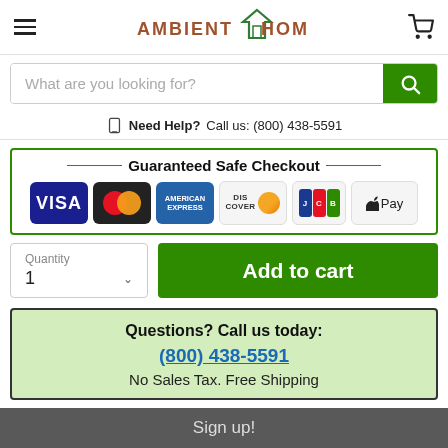AMBIENT HOME
What are you looking for?
Need Help? Call us: (800) 438-5591
[Figure (infographic): Guaranteed Safe Checkout banner with payment icons: Visa, Mastercard, American Express, Discover, JCB, Apple Pay]
Quantity 1 | Add to cart
Questions? Call us today: (800) 438-5591
No Sales Tax. Free Shipping
Sign up!